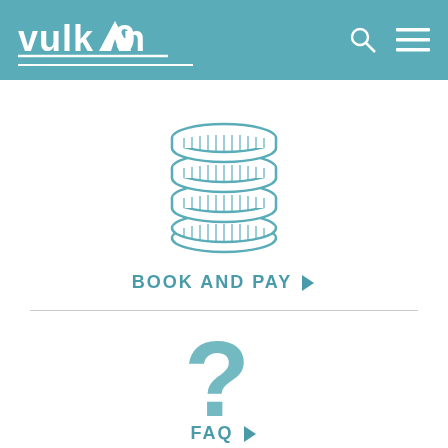vulkan
[Figure (illustration): Stack of coins icon in teal/light blue outline style]
BOOK AND PAY >
[Figure (illustration): Large teal question mark icon]
FAQ >